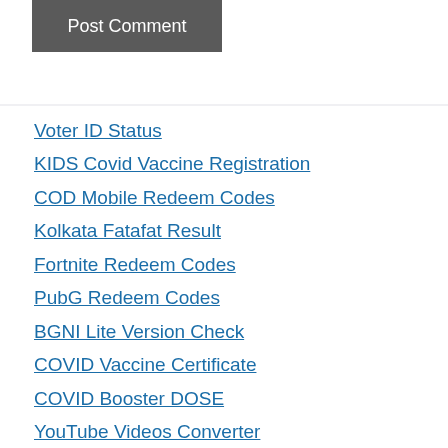[Figure (screenshot): Dark grey 'Post Comment' button]
Voter ID Status
KIDS Covid Vaccine Registration
COD Mobile Redeem Codes
Kolkata Fatafat Result
Fortnite Redeem Codes
PubG Redeem Codes
BGNI Lite Version Check
COVID Vaccine Certificate
COVID Booster DOSE
YouTube Videos Converter